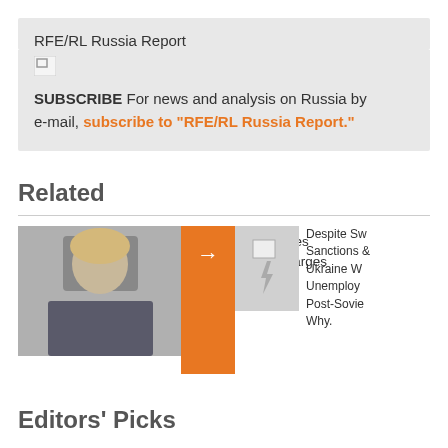RFE/RL Russia Report
[Figure (other): Broken/missing image placeholder]
SUBSCRIBE For news and analysis on Russia by e-mail, subscribe to "RFE/RL Russia Report."
Related
[Figure (photo): Photo of a man in a suit with blonde hair]
Fiction Writer Faces Possible Libel Charges
[Figure (other): Broken/missing image placeholder with lightning bolt]
Despite Sw Sanctions Ukraine W Unemploy Post-Sovie Why.
Editors' Picks